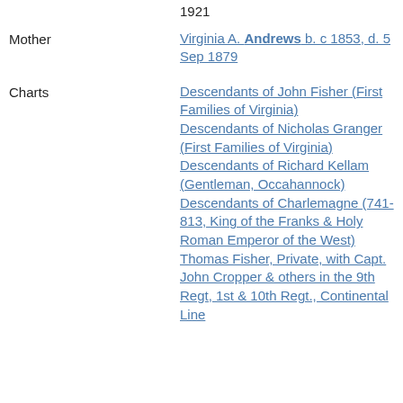1921
Mother	Virginia A. Andrews b. c 1853, d. 5 Sep 1879
Charts	Descendants of John Fisher (First Families of Virginia)
Descendants of Nicholas Granger (First Families of Virginia)
Descendants of Richard Kellam (Gentleman, Occahannock)
Descendants of Charlemagne (741-813, King of the Franks & Holy Roman Emperor of the West)
Thomas Fisher, Private, with Capt. John Cropper & others in the 9th Regt, 1st & 10th Regt., Continental Line